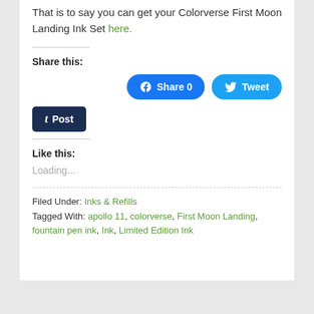That is to say you can get your Colorverse First Moon Landing Ink Set here.
Share this:
[Figure (screenshot): Social share buttons: Facebook Share 0, Tweet, and Tumblr Post]
Like this:
Loading...
Filed Under: Inks & Refills
Tagged With: apollo 11, colorverse, First Moon Landing, fountain pen ink, Ink, Limited Edition Ink